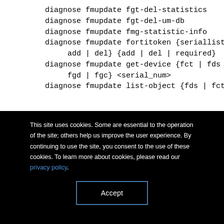diagnose fmupdate fgt-del-statistics
diagnose fmupdate fgt-del-um-db
diagnose fmupdate fmg-statistic-info
diagnose fmupdate fortitoken {seriallist | add | del} {add | del | required}
diagnose fmupdate get-device {fct | fds | fgd | fgc} <serial_num>
diagnose fmupdate list-object {fds | fct |
This site uses cookies. Some are essential to the operation of the site; others help us improve the user experience. By continuing to use the site, you consent to the use of these cookies. To learn more about cookies, please read our privacy policy.
Accept